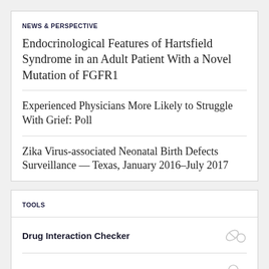NEWS & PERSPECTIVE
Endocrinological Features of Hartsfield Syndrome in an Adult Patient With a Novel Mutation of FGFR1
Experienced Physicians More Likely to Struggle With Grief: Poll
Zika Virus-associated Neonatal Birth Defects Surveillance — Texas, January 2016–July 2017
TOOLS
Drug Interaction Checker